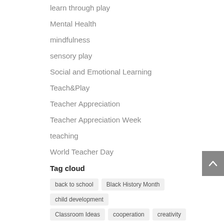learn through play
Mental Health
mindfulness
sensory play
Social and Emotional Learning
Teach&Play
Teacher Appreciation
Teacher Appreciation Week
teaching
World Teacher Day
Tag cloud
back to school | Black History Month | child development | Classroom Ideas | cooperation | creativity